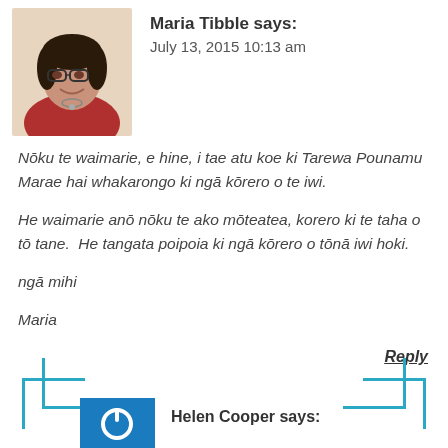[Figure (photo): Avatar photo of Maria Tibble, a woman wearing glasses and a red jacket]
Maria Tibble says:
July 13, 2015 10:13 am
Nōku te waimarie, e hine, i tae atu koe ki Tarewa Pounamu Marae hai whakarongo ki ngā kōrero o te iwi.
He waimarie anō nōku te ako mōteatea, korero ki te taha o tō tane.  He tangata poipoia ki ngā kōrero o tōnā iwi hoki.
ngā mihi
Maria
Reply
[Figure (logo): Blue square icon with white power/circle symbol for Helen Cooper avatar]
Helen Cooper says: